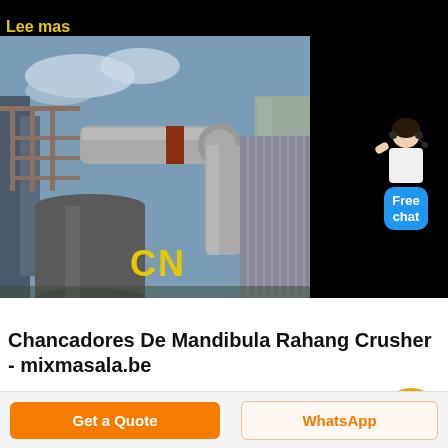Lee mas
[Figure (photo): Industrial facility photograph showing large metal pipes, ducts, and silos at a processing plant or mining facility. Yellow 'CN' logo visible on the image. A chat widget with a woman figure and 'Free chat' button is overlaid on the right side.]
Chancadores De Mandibula Rahang Crusher - mixmasala.be
Get a Quote
WhatsApp